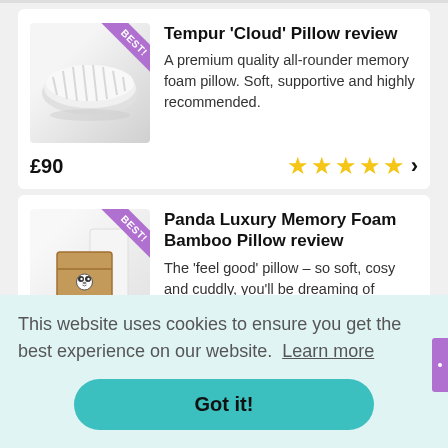[Figure (photo): Tempur Cloud Pillow product photo with purple BEST! badge in top-right corner of image]
Tempur 'Cloud' Pillow review
A premium quality all-rounder memory foam pillow. Soft, supportive and highly recommended.
£90
[Figure (photo): Panda Luxury Memory Foam Bamboo Pillow product photo (brown/tan box packaging) with purple BEST! badge in top-right corner of image]
Panda Luxury Memory Foam Bamboo Pillow review
The 'feel good' pillow – so soft, cosy and cuddly, you'll be dreaming of pandas!
£45
This website uses cookies to ensure you get the best experience on our website.  Learn more
Got it!
Treat your Mum this Mother's day